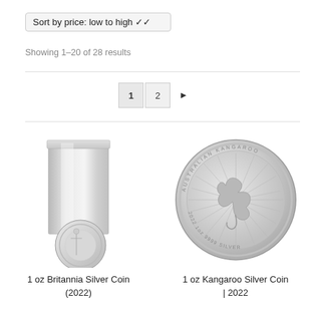Sort by price: low to high
Showing 1–20 of 28 results
1  2  ▶
[Figure (photo): Product image: A tube of 1 oz Britannia Silver Coins (2022) with a single coin displayed in front showing the Britannia design]
1 oz Britannia Silver Coin (2022)
[Figure (photo): Product image: A large close-up of a 1 oz Kangaroo Silver Coin 2022 showing the kangaroo design with '2022 1oz 9999 SILVER' and 'AUSTRALIAN KANGAROO' text around the border]
1 oz Kangaroo Silver Coin | 2022